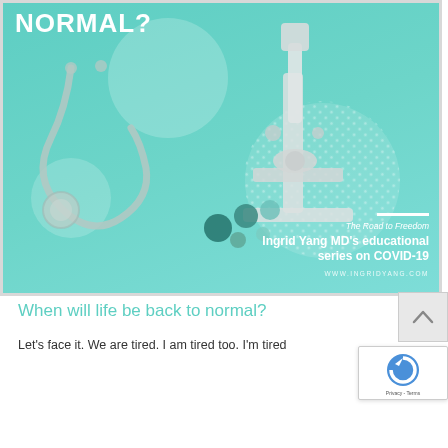[Figure (illustration): Promotional banner image with teal/mint background showing a stethoscope and microscope illustration with decorative circles and dots. Text overlay reads 'NORMAL?' at top left, 'The Road to Freedom', 'Ingrid Yang MD's educational series on COVID-19', and 'WWW.INGRIDYANG.COM'. Bottom right text area with white decorative line above.]
When will life be back to normal?
Let's face it. We are tired. I am tired too. I'm tired of wearing a mask, of social distancing, of not seeing friends and family.